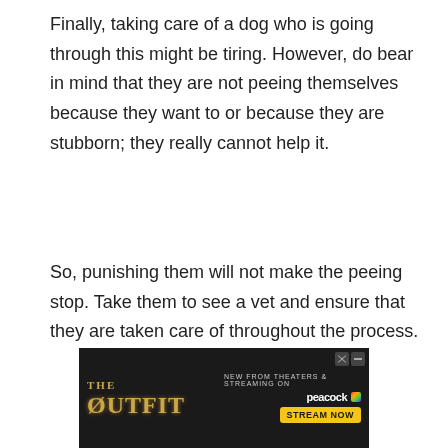Finally, taking care of a dog who is going through this might be tiring. However, do bear in mind that they are not peeing themselves because they want to or because they are stubborn; they really cannot help it.
So, punishing them will not make the peeing stop. Take them to see a vet and ensure that they are taken care of throughout the process.
[Figure (other): Advertisement banner for 'The Outfit' movie, featuring text 'NEW FROM THEATERS & STREAMING ON' with Peacock logo and 'STREAM NOW' button on a dark background.]